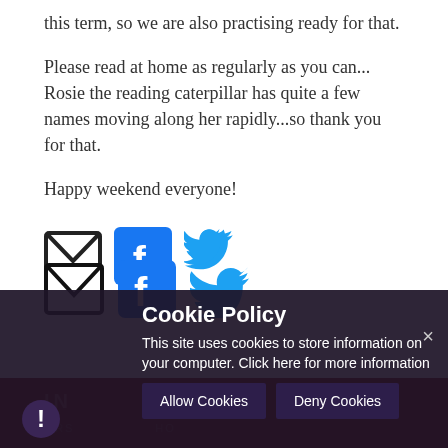this term, so we are also practising ready for that.
Please read at home as regularly as you can... Rosie the reading caterpillar has quite a few names moving along her rapidly...so thank you for that.
Happy weekend everyone!
[Figure (infographic): Three social media icons: an email envelope icon (black outline), a Facebook icon (blue square with white 'f'), and a Twitter bird icon (cyan).]
Cookie Policy
This site uses cookies to store information on your computer. Click here for more information
Allow Cookies
Deny Cookies